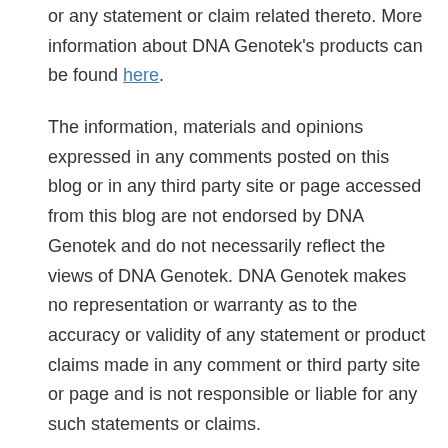or any statement or claim related thereto. More information about DNA Genotek's products can be found here.
The information, materials and opinions expressed in any comments posted on this blog or in any third party site or page accessed from this blog are not endorsed by DNA Genotek and do not necessarily reflect the views of DNA Genotek. DNA Genotek makes no representation or warranty as to the accuracy or validity of any statement or product claims made in any comment or third party site or page and is not responsible or liable for any such statements or claims.
None of the information contained in this blog is intended as medical advice. You should always consult with your health care provider regarding diagnosis and treatment decisions.
Follow Me